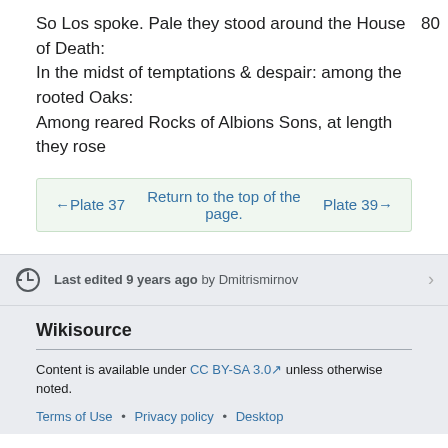So Los spoke. Pale they stood around the House of Death:
80
In the midst of temptations & despair: among the rooted Oaks:
Among reared Rocks of Albions Sons, at length they rose
←Plate 37   Return to the top of the page.   Plate 39→
Last edited 9 years ago by Dmitrismirnov
Wikisource
Content is available under CC BY-SA 3.0 unless otherwise noted.
Terms of Use • Privacy policy • Desktop